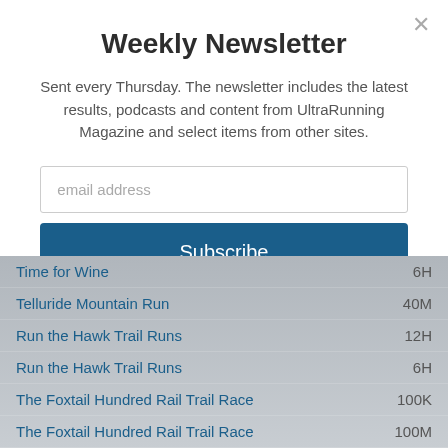Weekly Newsletter
Sent every Thursday. The newsletter includes the latest results, podcasts and content from UltraRunning Magazine and select items from other sites.
email address
Subscribe
Time for Wine — 6H
Telluride Mountain Run — 40M
Run the Hawk Trail Runs — 12H
Run the Hawk Trail Runs — 6H
The Foxtail Hundred Rail Trail Race — 100K
The Foxtail Hundred Rail Trail Race — 100M